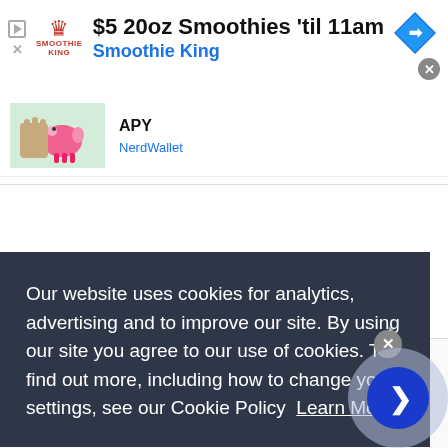[Figure (screenshot): Smoothie King advertisement banner: '$5 20oz Smoothies til 11am' with logo, navigation arrow diamond icon, and close button]
[Figure (screenshot): Content row with piggy bank thumbnail image showing 'APY' headline and NerdWallet source]
APY
NerdWallet
[Figure (screenshot): Content row with Macro Bytes podcast thumbnail showing 'Macro Bytes Podcast: Will China drop zero Covid?']
Macro Bytes Podcast: Will China drop zero Covid?
Our website uses cookies for analytics, advertising and to improve our site. By using our site you agree to our use of cookies. To find out more, including how to change your settings, see our Cookie Policy  Learn More
[Figure (screenshot): Belk advertisement banner: 'Step Out in Style. BELK. www.belk.com' with product images and navigation arrow button]